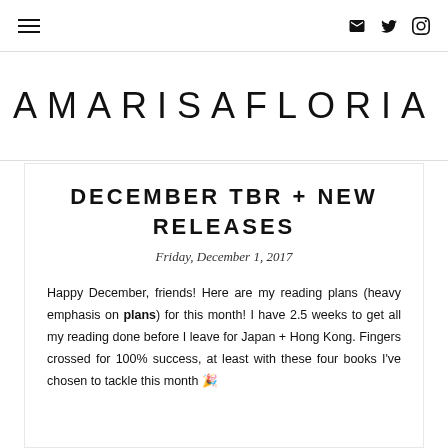AMARISAFLORIA — navigation header with menu icon and social icons (email, twitter, instagram)
AMARISAFLORIA
DECEMBER TBR + NEW RELEASES
Friday, December 1, 2017
Happy December, friends! Here are my reading plans (heavy emphasis on plans) for this month! I have 2.5 weeks to get all my reading done before I leave for Japan + Hong Kong. Fingers crossed for 100% success, at least with these four books I've chosen to tackle this month 🎉